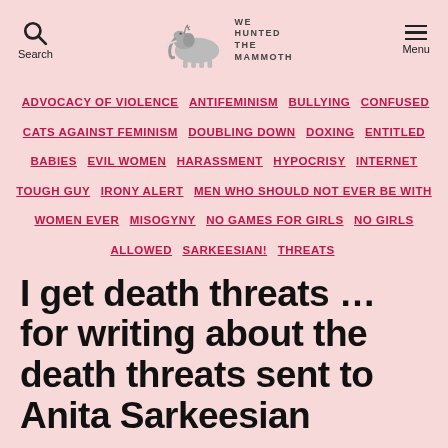We Hunted the Mammoth — Search | Menu
ADVOCACY OF VIOLENCE
ANTIFEMINISM
BULLYING
CONFUSED CATS AGAINST FEMINISM
DOUBLING DOWN
DOXING
ENTITLED BABIES
EVIL WOMEN
HARASSMENT
HYPOCRISY
INTERNET TOUGH GUY
IRONY ALERT
MEN WHO SHOULD NOT EVER BE WITH WOMEN EVER
MISOGYNY
NO GAMES FOR GIRLS
NO GIRLS ALLOWED
SARKEESIAN!
THREATS
I get death threats … for writing about the death threats sent to Anita Sarkeesian